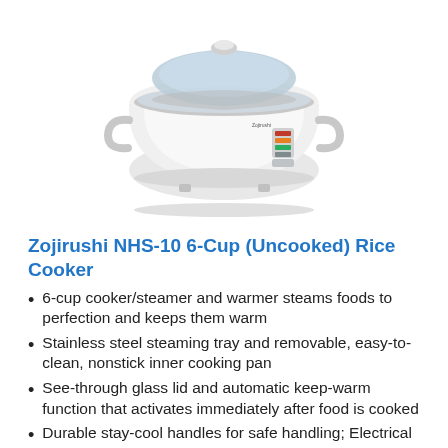[Figure (photo): A white Zojirushi NHS-10 rice cooker with a glass lid, stainless steel body, side handles, and a control panel on the front.]
Zojirushi NHS-10 6-Cup (Uncooked) Rice Cooker
6-cup cooker/steamer and warmer steams foods to perfection and keeps them warm
Stainless steel steaming tray and removable, easy-to-clean, nonstick inner cooking pan
See-through glass lid and automatic keep-warm function that activates immediately after food is cooked
Durable stay-cool handles for safe handling; Electrical Rating: 120 volts / 500